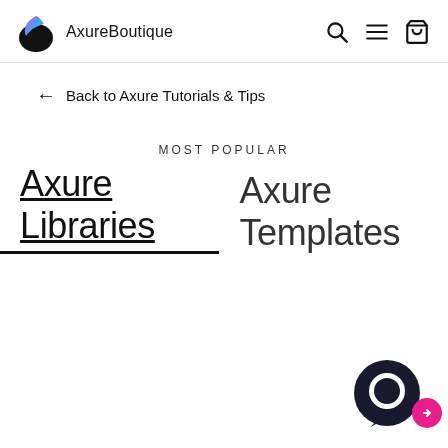AxureBoutique
← Back to Axure Tutorials & Tips
MOST POPULAR
Axure Libraries  Axure Templates
[Figure (other): Chat support widget with dark circular icon and pink arrow button]